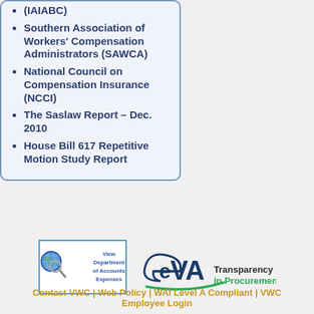(IAIABC)
Southern Association of Workers' Compensation Administrators (SAWCA)
National Council on Compensation Insurance (NCCI)
The Saslaw Report – Dec. 2010
House Bill 617 Repetitive Motion Study Report
[Figure (logo): View Department of Accounts Expenses logo with globe/magnifier icon in a blue-bordered box]
[Figure (logo): eVA Transparency in Procurement logo]
Contact VWC | Web Policy | WAI Level A Compliant | VWC Employee Login